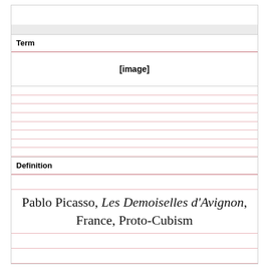Term
[Figure (other): [image] placeholder in term area of flashcard]
Definition
Pablo Picasso, Les Demoiselles d'Avignon, France, Proto-Cubism